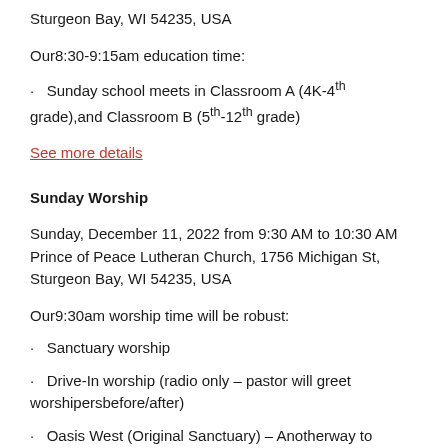Sturgeon Bay, WI 54235, USA
Our8:30-9:15am education time:
Sunday school meets in Classroom A (4K-4th grade),and Classroom B (5th-12th grade)
See more details
Sunday Worship
Sunday, December 11, 2022 from 9:30 AM to 10:30 AM
Prince of Peace Lutheran Church, 1756 Michigan St,
Sturgeon Bay, WI 54235, USA
Our9:30am worship time will be robust:
Sanctuary worship
Drive-In worship (radio only – pastor will greet worshipersbefore/after)
Oasis West (Original Sanctuary) – Anotherway to gather,